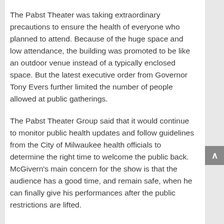The Pabst Theater was taking extraordinary precautions to ensure the health of everyone who planned to attend. Because of the huge space and low attendance, the building was promoted to be like an outdoor venue instead of a typically enclosed space. But the latest executive order from Governor Tony Evers further limited the number of people allowed at public gatherings.
The Pabst Theater Group said that it would continue to monitor public health updates and follow guidelines from the City of Milwaukee health officials to determine the right time to welcome the public back. McGivern's main concern for the show is that the audience has a good time, and remain safe, when he can finally give his performances after the public restrictions are lifted.